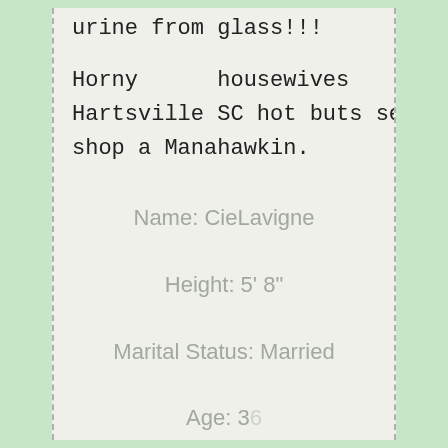urine from glass!!!
Horny      housewives      sex Hartsville SC hot buts sex shop a Manahawkin.
Name: CieLavigne
Height: 5' 8"
Marital Status: Married
Age: 36